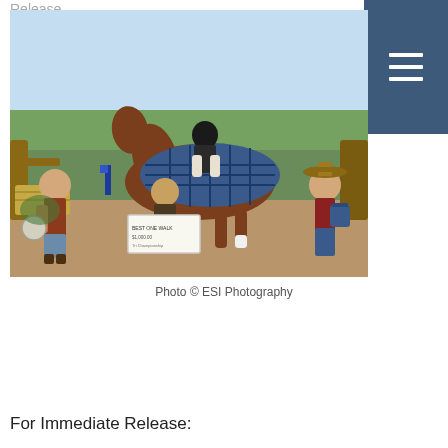Release
[Figure (photo): Equestrian winner photo: a rider on a horse draped in a blue plaid blanket, flanked by three people on the ground, one holding a large check, one holding a trophy plate, one holding an award bag. Blue ribbon visible. Outdoor arena setting.]
Photo © ESI Photography
For Immediate Release: